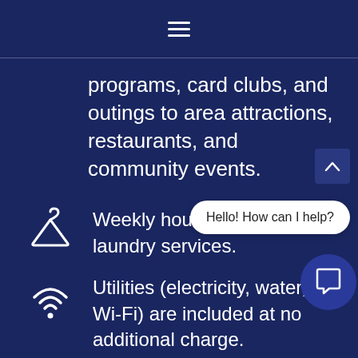Navigation menu (hamburger icon)
programs, card clubs, and outings to area attractions, restaurants, and community events.
Weekly housekeeping and laundry services.
Utilities (electricity, water, Wi-Fi) are included at no additional charge.
In-house maintenance service
Seasonal menus designed by